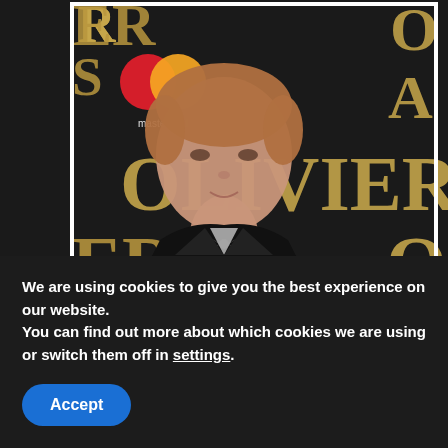[Figure (photo): Glenda Jackson photographed at the Olivier Awards red carpet backdrop, wearing a black tuxedo jacket with a bow tie. The dark backdrop displays 'OLIVIER' in gold letters, and a Mastercard logo is visible in the upper left.]
Glenda Jackson says Commons culture is by no
We are using cookies to give you the best experience on our website.
You can find out more about which cookies we are using or switch them off in settings.
Accept